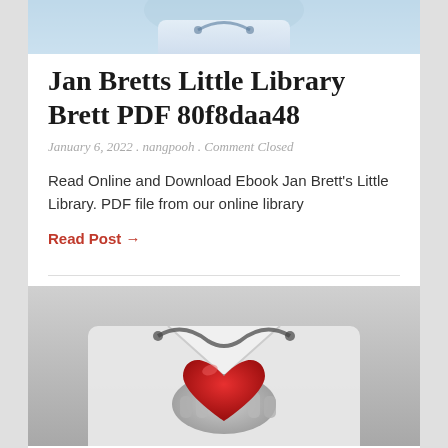[Figure (photo): Top portion of a doctor/medical professional in blue scrubs with a stethoscope, cropped to just show upper torso/neck area]
Jan Bretts Little Library Brett PDF 80f8daa48
January 6, 2022 . nangpooh . Comment Closed
Read Online and Download Ebook Jan Brett's Little Library. PDF file from our online library
Read Post →
[Figure (photo): Black and white photo of a doctor in a white coat holding a red heart shape, with a stethoscope around their neck]